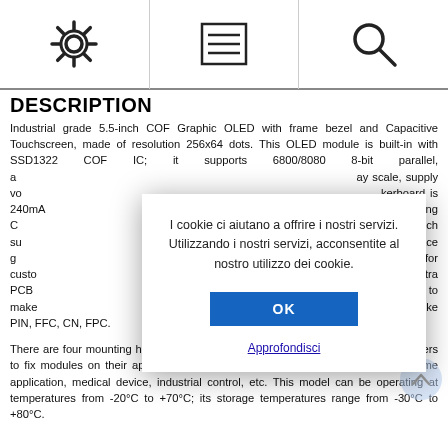[Settings icon] [Menu icon] [Search icon]
DESCRIPTION
Industrial grade 5.5-inch COF Graphic OLED with frame bezel and Capacitive Touchscreen, made of resolution 256x64 dots. This OLED module is built-in with SSD1322 COF IC; it supports 6800/8080 8-bit parallel, a...ay scale, supply vo...kerboard is 240mA...model is having C...GT911 IC which su...nal glare surface g...s suitable for custo...o develop extra PCB...t on PCB to make ...upporting many wiring methods like PIN, FFC, CN, FPC.
[Figure (other): Cookie consent dialog with Italian text: 'I cookie ci aiutano a offrire i nostri servizi. Utilizzando i nostri servizi, acconsentite al nostro utilizzo dei cookie.' with OK button and Approfondisci link]
There are four mounting holes on PCB board which is an easy method for customers to fix modules on their applications. This OLED module is suitable for smart home application, medical device, industrial control, etc. This model can be operating at temperatures from -20°C to +70°C; its storage temperatures range from -30°C to +80°C.